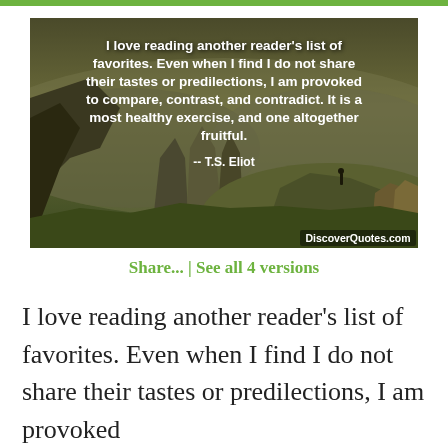[Figure (illustration): Landscape photo of rocky mountain peaks at dusk with a person standing on a rock, overlaid with white bold text quote: 'I love reading another reader's list of favorites. Even when I find I do not share their tastes or predilections, I am provoked to compare, contrast, and contradict. It is a most healthy exercise, and one altogether fruitful.' -- T.S. Eliot. DiscoverQuotes.com watermark in bottom right.]
Share...  |  See all 4 versions
I love reading another reader's list of favorites. Even when I find I do not share their tastes or predilections, I am provoked